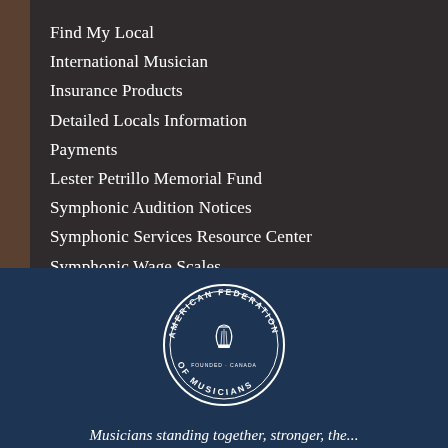Find My Local
International Musician
Insurance Products
Detailed Locals Information
Payments
Lester Petrillo Memorial Fund
Symphonic Audition Notices
Symphonic Services Resource Center
Symphonic Wage Scales
Travel Resources
[Figure (logo): American Federation of Musicians circular seal/logo in white on dark navy background]
Musicians standing together, stronger, the...